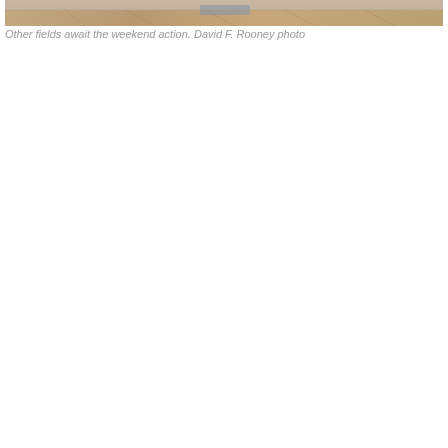[Figure (photo): A wide panoramic photograph showing fields, appearing to be an aerial or elevated view of outdoor fields with earthy/sandy tones.]
Other fields await the weekend action. David F. Rooney photo